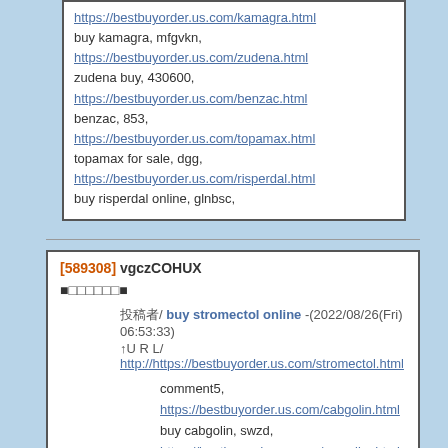https://bestbuyorder.us.com/kamagra.html buy kamagra, mfgvkn, https://bestbuyorder.us.com/zudena.html zudena buy, 430600, https://bestbuyorder.us.com/benzac.html benzac, 853, https://bestbuyorder.us.com/topamax.html topamax for sale, dgg, https://bestbuyorder.us.com/risperdal.html buy risperdal online, glnbsc,
[589308] vgczCOHUX
■□□□□□□■
投稿者/ buy stromectol online -(2022/08/26(Fri) 06:53:33)
↑U R L/ http://https://bestbuyorder.us.com/stromectol.html
comment5, https://bestbuyorder.us.com/cabgolin.html buy cabgolin, swzd, https://bestbuyorder.us.com/ayurslim.html buy ayurslim, =[[, https://bestbuyorder.us.com/aspirin.html buy aspirin online, 54632,